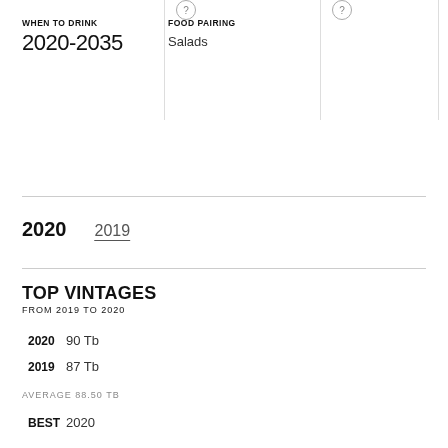WHEN TO DRINK
2020-2035
FOOD PAIRING
Salads
2020   2019
TOP VINTAGES
FROM 2019 TO 2020
2020  90 Tb
2019  87 Tb
AVERAGE 88.50 TB
BEST  2020